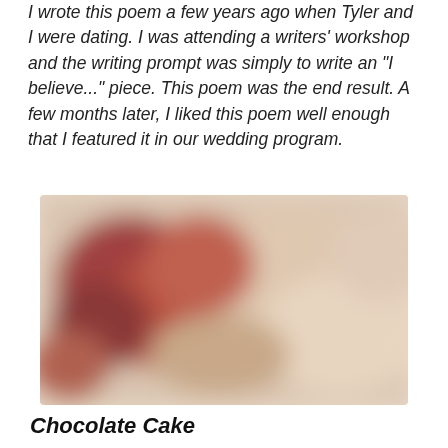I wrote this poem a few years ago when Tyler and I were dating. I was attending a writers' workshop and the writing prompt was simply to write an "I believe..." piece. This poem was the end result. A few months later, I liked this poem well enough that I featured it in our wedding program.
[Figure (photo): A blurred close-up photo, likely of a chocolate cake or baked good, with warm beige and reddish-brown tones]
Chocolate Cake